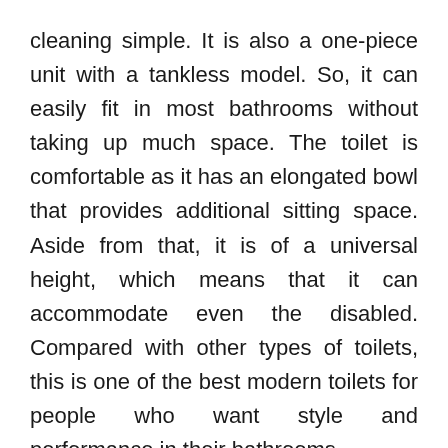cleaning simple. It is also a one-piece unit with a tankless model. So, it can easily fit in most bathrooms without taking up much space. The toilet is comfortable as it has an elongated bowl that provides additional sitting space. Aside from that, it is of a universal height, which means that it can accommodate even the disabled. Compared with other types of toilets, this is one of the best modern toilets for people who want style and performance in their bathrooms.
Similar to the Toto Neorest 700H toilet, this unit welcomes the user with an auto-open/close